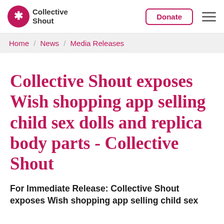Collective Shout | Donate
Home / News / Media Releases
Collective Shout exposes Wish shopping app selling child sex dolls and replica body parts - Collective Shout
For Immediate Release: Collective Shout exposes Wish shopping app selling child sex